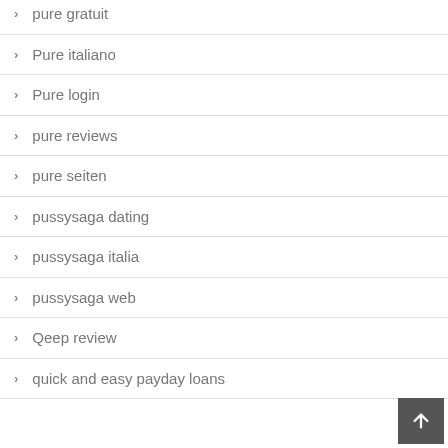pure gratuit
Pure italiano
Pure login
pure reviews
pure seiten
pussysaga dating
pussysaga italia
pussysaga web
Qeep review
quick and easy payday loans